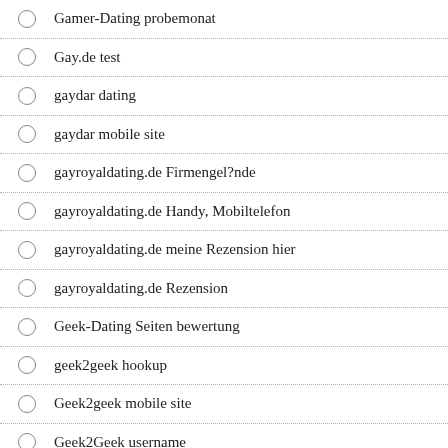Gamer-Dating probemonat
Gay.de test
gaydar dating
gaydar mobile site
gayroyaldating.de Firmengel?nde
gayroyaldating.de Handy, Mobiltelefon
gayroyaldating.de meine Rezension hier
gayroyaldating.de Rezension
Geek-Dating Seiten bewertung
geek2geek hookup
Geek2geek mobile site
Geek2Geek username